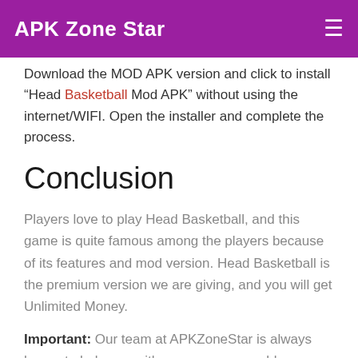APK Zone Star
Download the MOD APK version and click to install “Head Basketball Mod APK” without using the internet/WIFI. Open the installer and complete the process.
Conclusion
Players love to play Head Basketball, and this game is quite famous among the players because of its features and mod version. Head Basketball is the premium version we are giving, and you will get Unlimited Money.
Important: Our team at APKZoneStar is always happy to help you with your query or problem